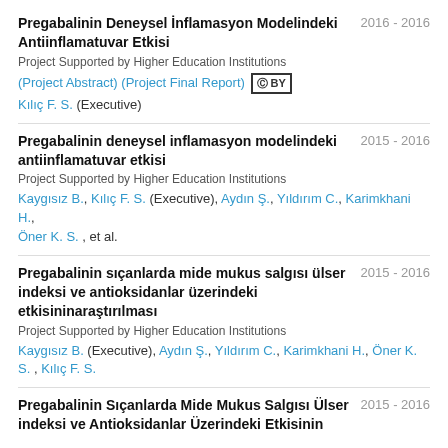Pregabalinin Deneysel İnflamasyon Modelindeki Antiinflamatuvar Etkisi 2016 - 2016
Project Supported by Higher Education Institutions
(Project Abstract) (Project Final Report) [cc] BY
Kılıç F. S. (Executive)
Pregabalinin deneysel inflamasyon modelindeki antiinflamatuvar etkisi 2015 - 2016
Project Supported by Higher Education Institutions
Kaygısız B., Kılıç F. S. (Executive), Aydın Ş., Yıldırım C., Karimkhani H., Öner K. S. , et al.
Pregabalinin sıçanlarda mide mukus salgısı ülser indeksi ve antioksidanlar üzerindeki etkisininaraştırılması 2015 - 2016
Project Supported by Higher Education Institutions
Kaygısız B. (Executive), Aydın Ş., Yıldırım C., Karimkhani H., Öner K. S. , Kılıç F. S.
Pregabalinin Sıçanlarda Mide Mukus Salgısı Ülser indeksi ve Antioksidanlar Üzerindeki Etkisinin 2015 - 2016